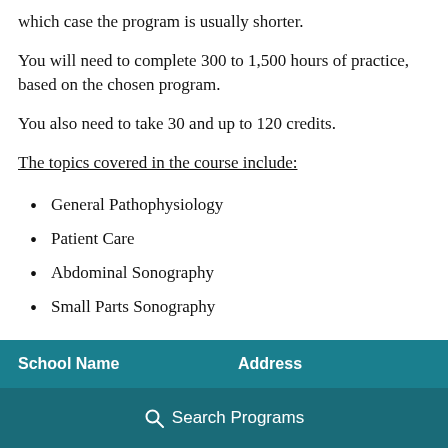which case the program is usually shorter.
You will need to complete 300 to 1,500 hours of practice, based on the chosen program.
You also need to take 30 and up to 120 credits.
The topics covered in the course include:
General Pathophysiology
Patient Care
Abdominal Sonography
Small Parts Sonography
| School Name | Address |
| --- | --- |
Search Programs